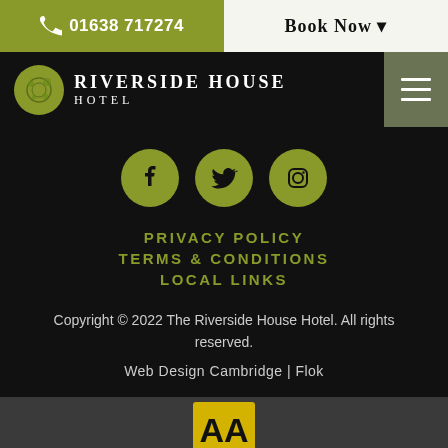📞 01638 717274   Book Now ▾
[Figure (logo): Riverside House Hotel logo with circular emblem and hamburger menu icon]
[Figure (infographic): Social media icons: Facebook, Twitter, Instagram — olive/yellow-green circles]
PRIVACY POLICY
TERMS & CONDITIONS
LOCAL LINKS
Copyright © 2022 The Riverside House Hotel. All rights reserved.
Web Design Cambridge | Flok
[Figure (logo): AA Three Star Hotel badge]
Cameron Hotel Collection
Cameron Ventures Group